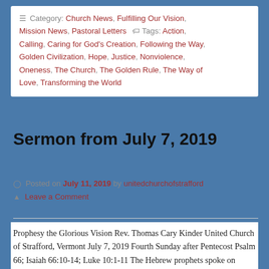Category: Church News, Fulfilling Our Vision, Mission News, Pastoral Letters  Tags: Action, Calling, Caring for God's Creation, Following the Way, Golden Civilization, Hope, Justice, Nonviolence, Oneness, The Church, The Golden Rule, The Way of Love, Transforming the World
Sermon from July 7, 2019
Posted on July 11, 2019 by unitedchurchofstrafford  Leave a Comment
Prophesy the Glorious Vision Rev. Thomas Cary Kinder United Church of Strafford, Vermont July 7, 2019 Fourth Sunday after Pentecost Psalm 66; Isaiah 66:10-14; Luke 10:1-11 The Hebrew prophets spoke on behalf of God's